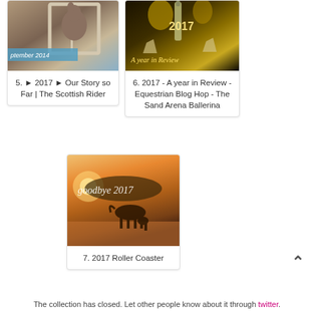[Figure (photo): Photo of a horse looking through a stable window with text overlay 'ptember 2014']
5. ► 2017 ► Our Story so Far | The Scottish Rider
[Figure (photo): New Year 2017 celebration photo with champagne bottle, gold streamers, and '2017 A year in Review' text overlay]
6. 2017 - A year in Review - Equestrian Blog Hop - The Sand Arena Ballerina
[Figure (photo): Sunset photo of a horse grazing in a field with 'goodbye 2017' text overlay]
7. 2017 Roller Coaster
The collection has closed. Let other people know about it through twitter.